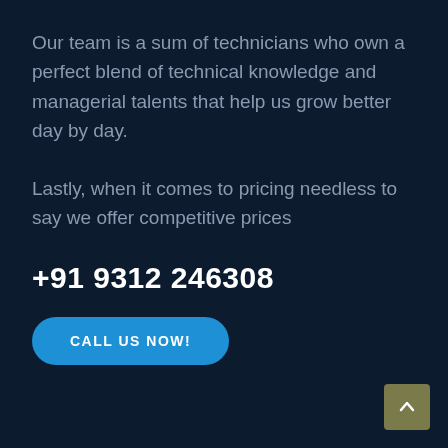Our team is a sum of technicians who own a perfect blend of technical knowledge and managerial talents that help us grow better day by day.
Lastly, when it comes to pricing needless to say we offer competitive prices
+91 9312 246308
CALL US NOW!